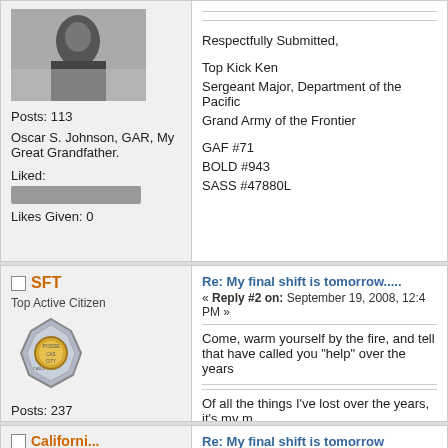[Figure (photo): Avatar photo of a person in dark clothing, old/vintage style, grayscale]
Posts: 113
Oscar S. Johnson, GAR, My Great Grandfather.
Liked:
Likes Given: 0
Respectfully Submitted,

Top Kick Ken
Sergeant Major, Department of the Pacific
Grand Army of the Frontier

GAF #71
BOLD #943
SASS #47880L
SFT
Top Active Citizen
[Figure (illustration): Posse Cas City badge/shield logo with gold coin center]
Posts: 237
You can't kill a man born to hang!
Liked:
Likes Given: 0
Re: My final shift is tomorrow.....
« Reply #2 on: September 19, 2008, 12:4 PM »
Come, warm yourself by the fire, and tell that have called you "help" over the years
Of all the things I've lost over the years, it's my m
SASS# 35973, BOLD #557, Tejas Caballeros, Te
Re: My final shift is tomorrow